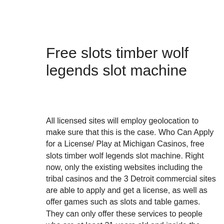Free slots timber wolf legends slot machine
All licensed sites will employ geolocation to make sure that this is the case. Who Can Apply for a License/ Play at Michigan Casinos, free slots timber wolf legends slot machine. Right now, only the existing websites including the tribal casinos and the 3 Detroit commercial sites are able to apply and get a license, as well as offer games such as slots and table games. They can only offer these services to people who are at least 21 years old and inside the state lines. The Cost of a License in Michigan. It is also easy to deposit funds in the online casino account and the withdrawals of your